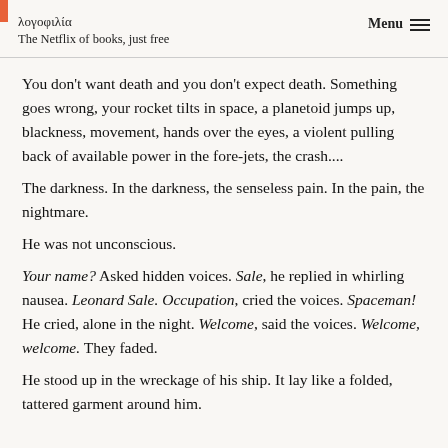λογοφιλία
The Netflix of books, just free
Menu
You don't want death and you don't expect death. Something goes wrong, your rocket tilts in space, a planetoid jumps up, blackness, movement, hands over the eyes, a violent pulling back of available power in the fore-jets, the crash....
The darkness. In the darkness, the senseless pain. In the pain, the nightmare.
He was not unconscious.
Your name? Asked hidden voices. Sale, he replied in whirling nausea. Leonard Sale. Occupation, cried the voices. Spaceman! He cried, alone in the night. Welcome, said the voices. Welcome, welcome. They faded.
He stood up in the wreckage of his ship. It lay like a folded, tattered garment around him.